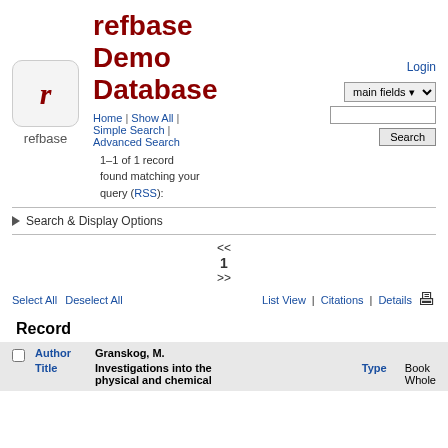refbase Demo Database
Home | Show All | Simple Search | Advanced Search
Login
[Figure (logo): refbase logo: italic red 'r' on a rounded gray square, with text 'refbase' below]
1–1 of 1 record found matching your query (RSS):
Search & Display Options
<< 1 >>
Select All   Deselect All   List View | Citations | Details
Record
| Author | Title | Type |
| --- | --- | --- |
| Granskog, M. | Investigations into the physical and chemical | Book Whole |